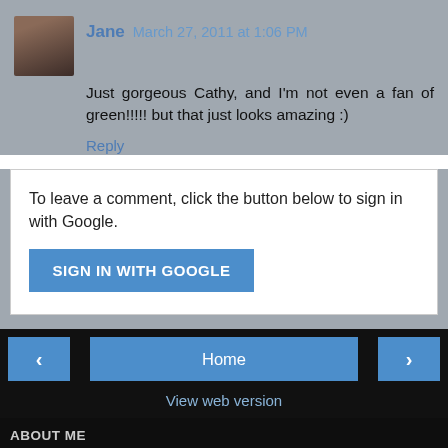Jane  March 27, 2011 at 1:06 PM
Just gorgeous Cathy, and I'm not even a fan of green!!!!! but that just looks amazing :)
Reply
To leave a comment, click the button below to sign in with Google.
SIGN IN WITH GOOGLE
Home
View web version
ABOUT ME
Cathy
Hi, I am a passionate scrapbooking artist. I live in sunny Queensland with my husband and my teenage son and